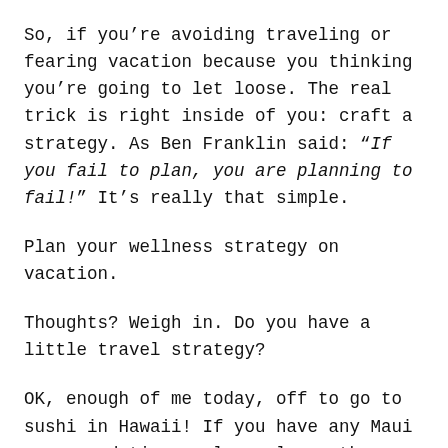So, if you're avoiding traveling or fearing vacation because you thinking you're going to let loose. The real trick is right inside of you: craft a strategy. As Ben Franklin said: “If you fail to plan, you are planning to fail!” It’s really that simple.
Plan your wellness strategy on vacation.
Thoughts? Weigh in. Do you have a little travel strategy?
OK, enough of me today, off to go to sushi in Hawaii! If you have any Maui recommendations, please leave them below